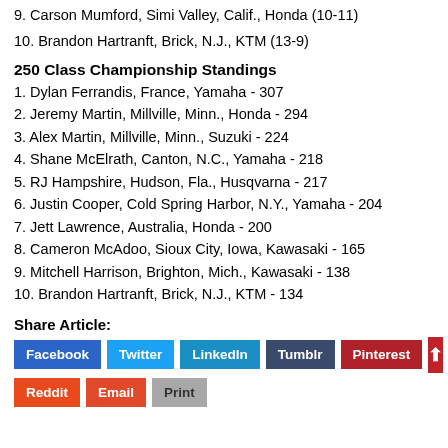9. Carson Mumford, Simi Valley, Calif., Honda (10-11)
10. Brandon Hartranft, Brick, N.J., KTM (13-9)
250 Class Championship Standings
1. Dylan Ferrandis, France, Yamaha - 307
2. Jeremy Martin, Millville, Minn., Honda - 294
3. Alex Martin, Millville, Minn., Suzuki - 224
4. Shane McElrath, Canton, N.C., Yamaha - 218
5. RJ Hampshire, Hudson, Fla., Husqvarna - 217
6. Justin Cooper, Cold Spring Harbor, N.Y., Yamaha - 204
7. Jett Lawrence, Australia, Honda - 200
8. Cameron McAdoo, Sioux City, Iowa, Kawasaki - 165
9. Mitchell Harrison, Brighton, Mich., Kawasaki - 138
10. Brandon Hartranft, Brick, N.J., KTM - 134
Share Article:
Facebook Twitter LinkedIn Tumblr Pinterest Reddit Email Print